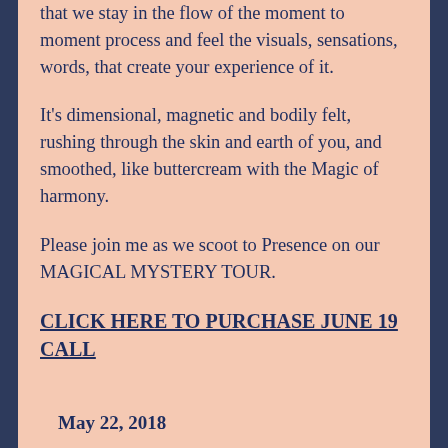that we stay in the flow of the moment to moment process and feel the visuals, sensations, words, that create your experience of it.
It's dimensional, magnetic and bodily felt, rushing through the skin and earth of you, and smoothed, like buttercream with the Magic of harmony.
Please join me as we scoot to Presence on our MAGICAL MYSTERY TOUR.
CLICK HERE TO PURCHASE JUNE 19 CALL
May 22, 2018